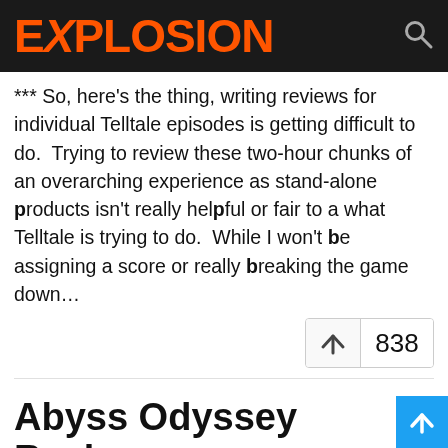EXPLOSION
*** So, here's the thing, writing reviews for individual Telltale episodes is getting difficult to do.  Trying to review these two-hour chunks of an overarching experience as stand-alone products isn't really helpful or fair to a what Telltale is trying to do.  While I won't be assigning a score or really breaking the game down…
Abyss Odyssey Review
ACE Team is a developer known for creating interesting games which don't always deliv…